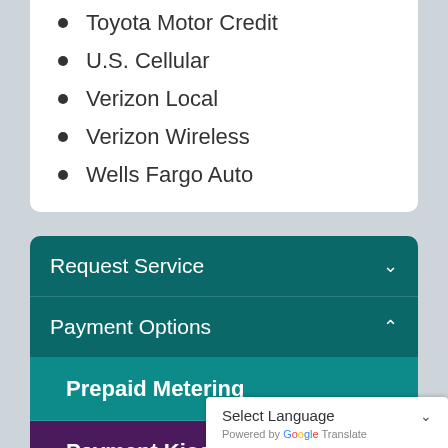Toyota Motor Credit
U.S. Cellular
Verizon Local
Verizon Wireless
Wells Fargo Auto
Request Service
Payment Options
Prepaid Metering
Payment Kiosks
Payment Assistance
Select Language